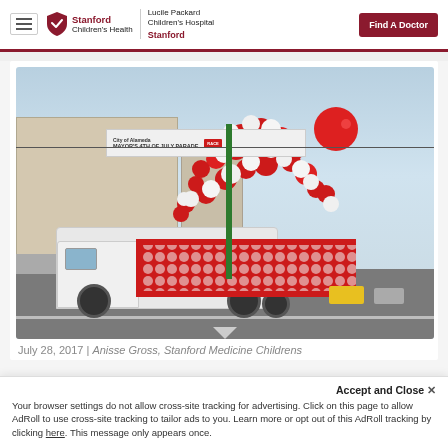Stanford Children's Health | Lucile Packard Children's Hospital Stanford | Find A Doctor
[Figure (photo): A parade float truck decorated entirely with red and white balloons driving down a city street. A banner overhead reads 'City of Alameda Mayor's 4th of July Parade'. Spectators line the sidewalk.]
July 28, 2017 | Anisse Gross, Stanford Medicine Childrens
Accept and Close ×
Your browser settings do not allow cross-site tracking for advertising. Click on this page to allow AdRoll to use cross-site tracking to tailor ads to you. Learn more or opt out of this AdRoll tracking by clicking here. This message only appears once.